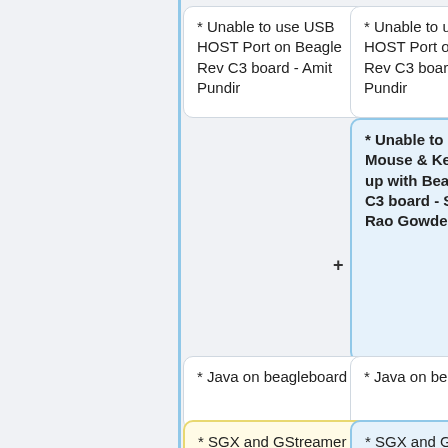[Figure (flowchart): A flowchart/comparison diagram showing two columns of cards with items related to BeagleBoard issues. Left column shows plain white cards, right column shows blue-highlighted cards. Items include: USB HOST Port issue by Amit Pundir, USB Mouse & Keyboard issue by Shrinivas Rao Gowde (highlighted in right column), Java on beagleboard, and SGX and GStreamer integration by Radha Krishna. S. Plus and minus markers indicate additions and removals.]